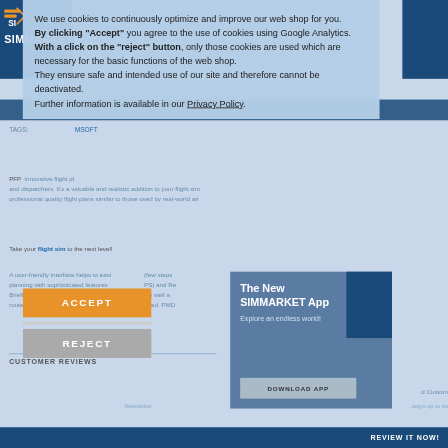[Figure (screenshot): SIMMARKET website screenshot with cookie consent modal overlay and app promo popup]
We use cookies to continuously optimize and improve our web shop for you. By clicking "Accept" you agree to the use of cookies using Google Analytics. With a click on the "reject" button, only those cookies are used which are necessary for the basic functions of the web shop. They ensure safe and intended use of our site and therefore cannot be deactivated. Further information is available in our Privacy Policy.
ACCEPT
REJECT
The New SIMMARKET App
Explore an endless world!
DOWNLOAD APP
CUSTOMER REVIEWS
REVIEW IT NOW!